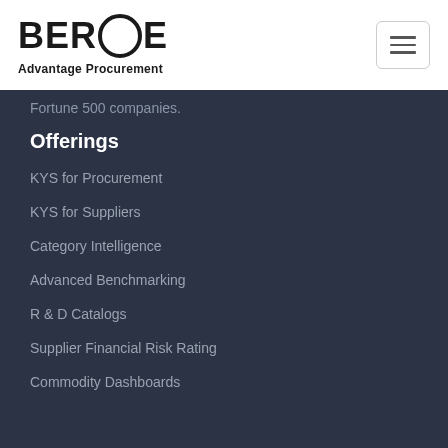BEROE Advantage Procurement
Fortune 500 companies.
Offerings
KYS for Procurement
KYS for Suppliers
Category Intelligence
Advanced Benchmarking
R & D Catalogs
Supplier Financial Risk Rating
Commodity Dashboards